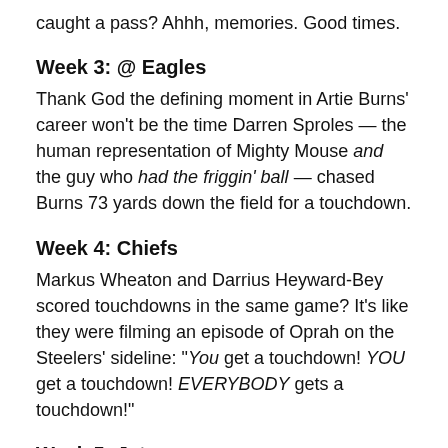caught a pass? Ahhh, memories. Good times.
Week 3: @ Eagles
Thank God the defining moment in Artie Burns' career won't be the time Darren Sproles — the human representation of Mighty Mouse and the guy who had the friggin' ball — chased Burns 73 yards down the field for a touchdown.
Week 4: Chiefs
Markus Wheaton and Darrius Heyward-Bey scored touchdowns in the same game? It's like they were filming an episode of Oprah on the Steelers' sideline: "You get a touchdown! YOU get a touchdown! EVERYBODY gets a touchdown!"
Week 5: Jets